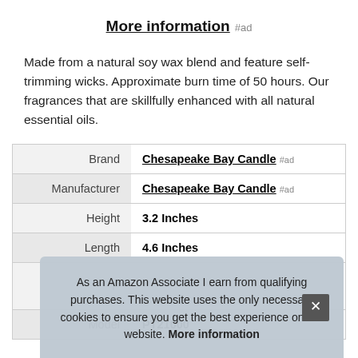More information #ad
Made from a natural soy wax blend and feature self-trimming wicks. Approximate burn time of 50 hours. Our fragrances that are skillfully enhanced with all natural essential oils.
|  |  |
| --- | --- |
| Brand | Chesapeake Bay Candle #ad |
| Manufacturer | Chesapeake Bay Candle #ad |
| Height | 3.2 Inches |
| Length | 4.6 Inches |
| P |  |
| Model | PT21000 |
As an Amazon Associate I earn from qualifying purchases. This website uses the only necessary cookies to ensure you get the best experience on our website. More information